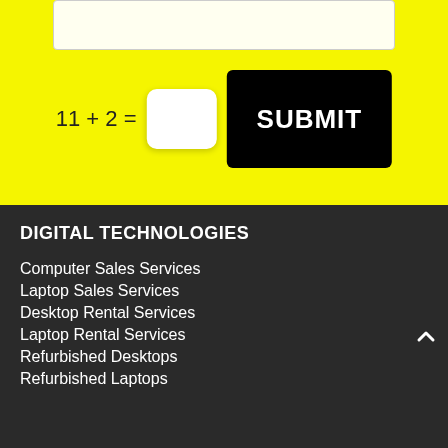[Figure (screenshot): Yellow background section with a textarea at top, a CAPTCHA math question '11 + 2 =' with an input box, and a black SUBMIT button]
DIGITAL TECHNOLOGIES
Computer Sales Services
Laptop Sales Services
Desktop Rental Services
Laptop Rental Services
Refurbished Desktops
Refurbished Laptops